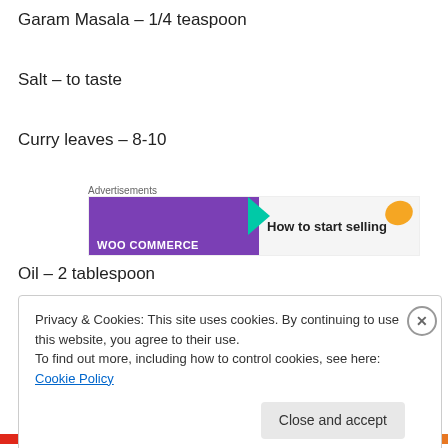Garam Masala – 1/4 teaspoon
Salt – to taste
Curry leaves – 8-10
[Figure (screenshot): WooCommerce advertisement banner with purple background and text 'How to start selling']
Oil – 2 tablespoon
Privacy & Cookies: This site uses cookies. By continuing to use this website, you agree to their use. To find out more, including how to control cookies, see here: Cookie Policy